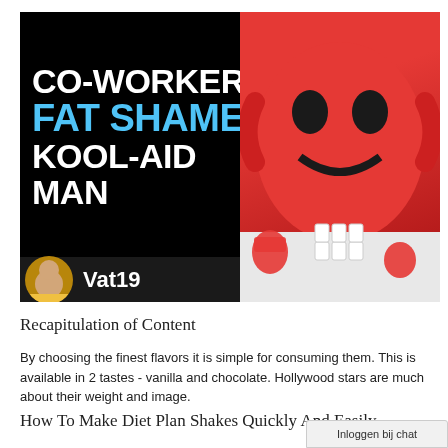[Figure (photo): YouTube thumbnail image showing text overlay on black background reading 'CO-WORKER FAT SHAMES KOOL-AID MAN' with 'FAT SHAMES' in blue, alongside an image of a Kool-Aid Man costume (large red pitcher character) with red liquid pitchers and white cups on a table. Vat19 branding with avatar in lower left.]
Recapitulation of Content
By choosing the finest flavors it is simple for consuming them. This is available in 2 tastes - vanilla and chocolate. Hollywood stars are much about their weight and image.
How To Make Diet Plan Shakes Quickly And Easily